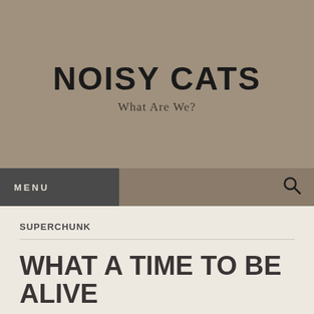NOISY CATS
What Are We?
MENU
SUPERCHUNK
WHAT A TIME TO BE ALIVE
Follow ...